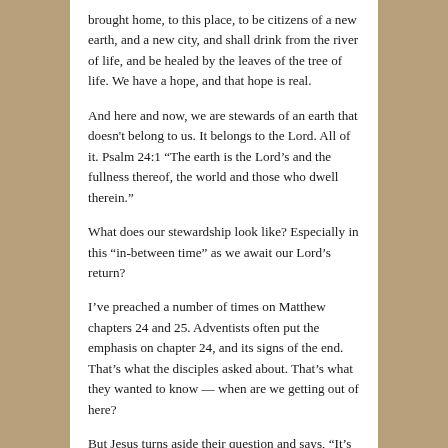brought home, to this place, to be citizens of a new earth, and a new city, and shall drink from the river of life, and be healed by the leaves of the tree of life. We have a hope, and that hope is real.
And here and now, we are stewards of an earth that doesn't belong to us. It belongs to the Lord. All of it. Psalm 24:1 “The earth is the Lord’s and the fullness thereof, the world and those who dwell therein.”
What does our stewardship look like? Especially in this “in-between time” as we await our Lord’s return?
I’ve preached a number of times on Matthew chapters 24 and 25. Adventists often put the emphasis on chapter 24, and its signs of the end. That’s what the disciples asked about. That’s what they wanted to know — when are we getting out of here?
But Jesus turns aside their question and says, “It’s not for you to know.” And he goes on to tell them in